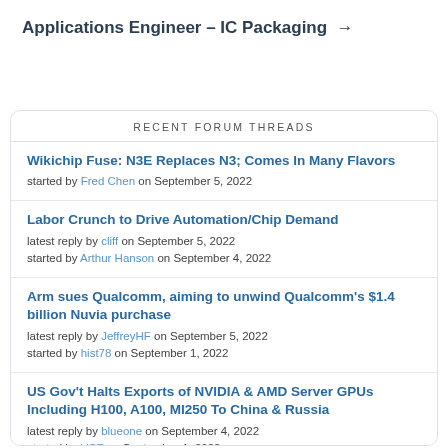Applications Engineer – IC Packaging →
RECENT FORUM THREADS
Wikichip Fuse: N3E Replaces N3; Comes In Many Flavors
started by Fred Chen on September 5, 2022
Labor Crunch to Drive Automation/Chip Demand
latest reply by cliff on September 5, 2022
started by Arthur Hanson on September 4, 2022
Arm sues Qualcomm, aiming to unwind Qualcomm's $1.4 billion Nuvia purchase
latest reply by JeffreyHF on September 5, 2022
started by hist78 on September 1, 2022
US Gov't Halts Exports of NVIDIA & AMD Server GPUs Including H100, A100, MI250 To China & Russia
latest reply by blueone on September 4, 2022
started by VCT on September 1, 2022